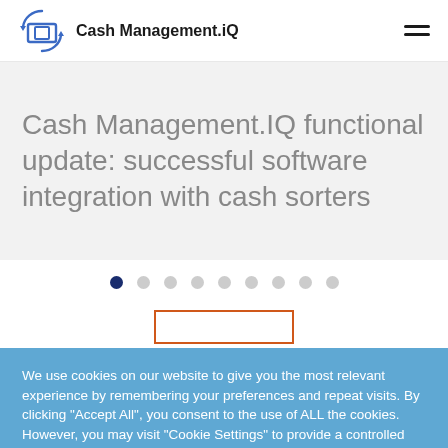Cash Management.iQ
Cash Management.IQ functional update: successful software integration with cash sorters
[Figure (other): Carousel pagination dots: 9 dots, first dot active (dark navy), remaining 8 dots grey]
[Figure (other): Orange outlined rectangle button (partially visible)]
We use cookies on our website to give you the most relevant experience by remembering your preferences and repeat visits. By clicking "Accept All", you consent to the use of ALL the cookies. However, you may visit "Cookie Settings" to provide a controlled consent.
Cookie Settings   Accept All   Privacy policy